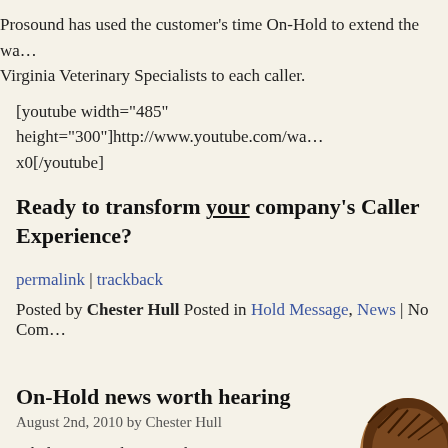Prosound has used the customer's time On-Hold to extend the wa... Virginia Veterinary Specialists to each caller.
[youtube width="485" height="300"]http://www.youtube.com/wa... x0[/youtube]
Ready to transform your company's Caller Experience?
permalink | trackback
Posted by Chester Hull Posted in Hold Message, News | No Com...
On-Hold news worth hearing
August 2nd, 2010 by Chester Hull
It helps you wake up in the morning.
You watch it while you're eating breakfast.
[Figure (illustration): Partial illustration of a person's head visible at bottom right corner]